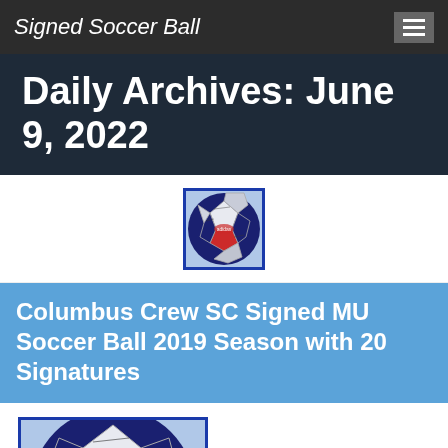Signed Soccer Ball
Daily Archives: June 9, 2022
[Figure (photo): Small thumbnail of an Adidas MLS signed soccer ball with blue and red design and visible signatures]
Columbus Crew SC Signed MU Soccer Ball 2019 Season with 20 Signatures
[Figure (photo): Larger image of an Adidas MLS signed soccer ball with blue, red and white design and multiple signatures, partially visible]